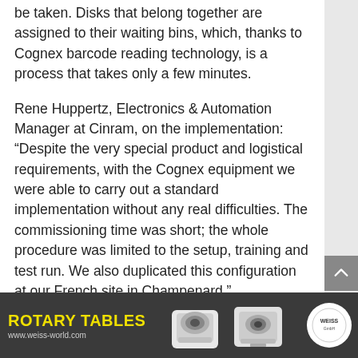be taken. Disks that belong together are assigned to their waiting bins, which, thanks to Cognex barcode reading technology, is a process that takes only a few minutes.
Rene Huppertz, Electronics & Automation Manager at Cinram, on the implementation: “Despite the very special product and logistical requirements, with the Cognex equipment we were able to carry out a standard implementation without any real difficulties. The commissioning time was short; the whole procedure was limited to the setup, training and test run. We also duplicated this configuration at our French site in Champenard.”
Author: Janina Guptill, Marcom Specialist, Cognex Germany Inc.
[Figure (illustration): Advertisement banner for Weiss Rotary Tables showing two white rotary table devices and the Weiss logo on a dark grey background with yellow 'ROTARY TABLES' text and www.weiss-world.com URL]